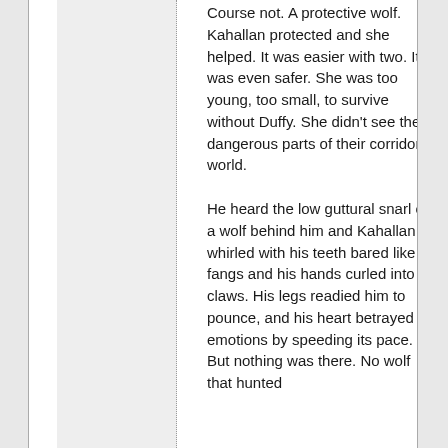Course not. A protective wolf. Kahallan protected and she helped. It was easier with two. It was even safer. She was too young, too small, to survive without Duffy. She didn't see the dangerous parts of their corridor world.
He heard the low guttural snarl of a wolf behind him and Kahallan whirled with his teeth bared like fangs and his hands curled into claws. His legs readied him to pounce, and his heart betrayed his emotions by speeding its pace. But nothing was there. No wolf that hunted